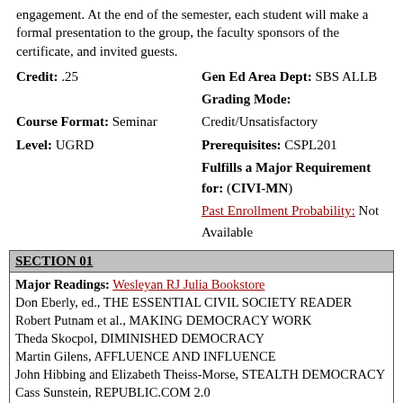engagement. At the end of the semester, each student will make a formal presentation to the group, the faculty sponsors of the certificate, and invited guests.
Credit: .25   Gen Ed Area Dept: SBS ALLB   Grading Mode: Credit/Unsatisfactory   Course Format: Seminar   Level: UGRD   Prerequisites: CSPL201   Fulfills a Major Requirement for: (CIVI-MN)   Past Enrollment Probability: Not Available
SECTION 01
Major Readings: Wesleyan RJ Julia Bookstore
Don Eberly, ed., THE ESSENTIAL CIVIL SOCIETY READER
Robert Putnam et al., MAKING DEMOCRACY WORK
Theda Skocpol, DIMINISHED DEMOCRACY
Martin Gilens, AFFLUENCE AND INFLUENCE
John Hibbing and Elizabeth Theiss-Morse, STEALTH DEMOCRACY
Cass Sunstein, REPUBLIC.COM 2.0
Harry C. Boyte, THE CITIZEN SOLUTION
Examinations and Assignments:
Additional short readings will be chosen by the course